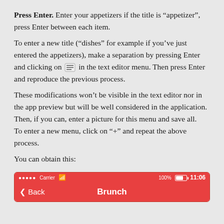Press Enter. Enter your appetizers if the title is "appetizer", press Enter between each item.

To enter a new title ("dishes" for example if you've just entered the appetizers), make a separation by pressing Enter and clicking on [icon] in the text editor menu. Then press Enter and reproduce the previous process.
These modifications won't be visible in the text editor nor in the app preview but will be well considered in the application.
Then, if you can, enter a picture for this menu and save all.
To enter a new menu, click on "+" and repeat the above process.

You can obtain this:
[Figure (screenshot): iOS app screenshot showing a red status bar with carrier and time 11:06, and a red navigation bar with Back button and title 'Brunch']